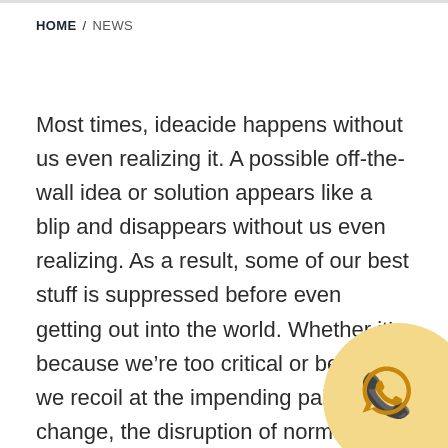HOME / NEWS
Most times, ideacide happens without us even realizing it. A possible off-the-wall idea or solution appears like a blip and disappears without us even realizing. As a result, some of our best stuff is suppressed before even getting out into the world. Whether it's because we're too critical or because we recoil at the impending pain of change, the disruption of normalcy, self-censoring arises out of fear. Welsh novelist Sarah Waters sums it up eloquently: “Midway through writing a novel, I have